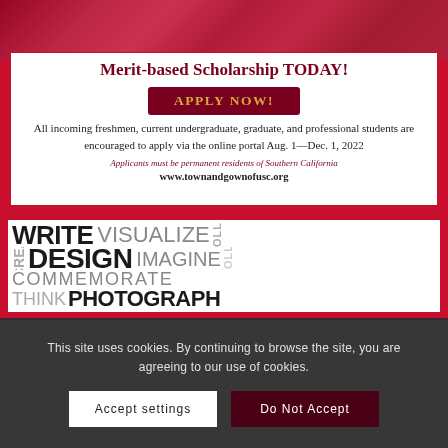[Figure (infographic): Merit-based Scholarship advertisement with photo background of students in USC colors, containing title, Apply Now button, body text, italic disclaimer, and website URL]
[Figure (infographic): Word cloud style advertisement with words: WRITE, VISUALIZE, COLLABORATE, CREATE, DESIGN, IMAGINE, COLLABORATE, COMMEMORATE, THINK, PHOTOGRAPH in various sizes and colors on white background with red border]
This site uses cookies. By continuing to browse the site, you are agreeing to our use of cookies.
Accept settings
Do Not Accept